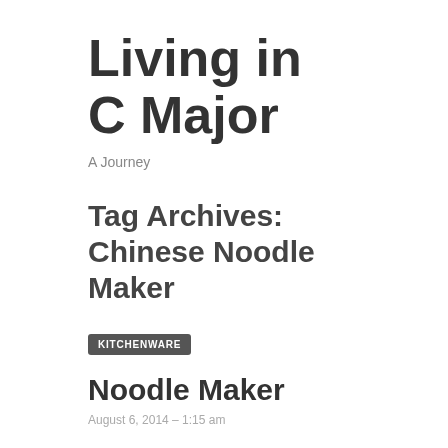Living in C Major
A Journey
Tag Archives: Chinese Noodle Maker
KITCHENWARE
Noodle Maker
August 6, 2014 – 1:15 am